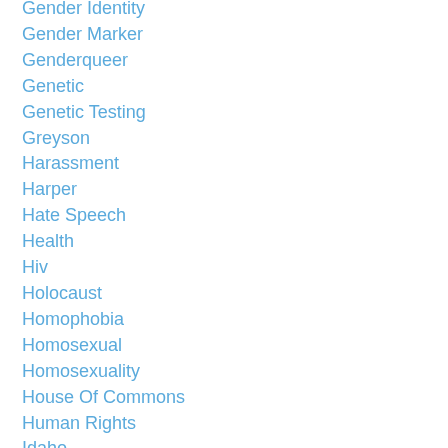Gender Identity
Gender Marker
Genderqueer
Genetic
Genetic Testing
Greyson
Harassment
Harper
Hate Speech
Health
Hiv
Holocaust
Homophobia
Homosexual
Homosexuality
House Of Commons
Human Rights
Idaho
Immigration
International
Intersex